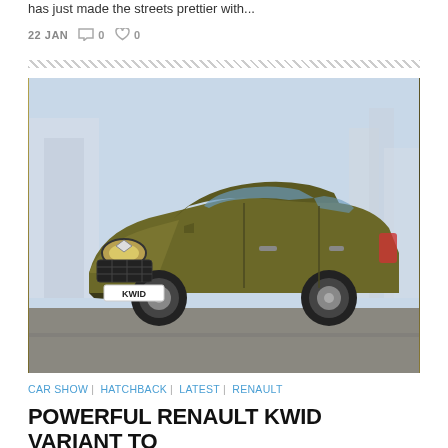has just made the streets prettier with...
22 JAN  💬 0  ♥ 0
[Figure (photo): Renault KWID hatchback car in olive/gold color driving on a road with blurred city buildings in the background. License plate area shows 'KWID' text.]
CAR SHOW | HATCHBACK | LATEST | RENAULT
POWERFUL RENAULT KWID VARIANT TO DEBUT AT AUTO EXPO 2016